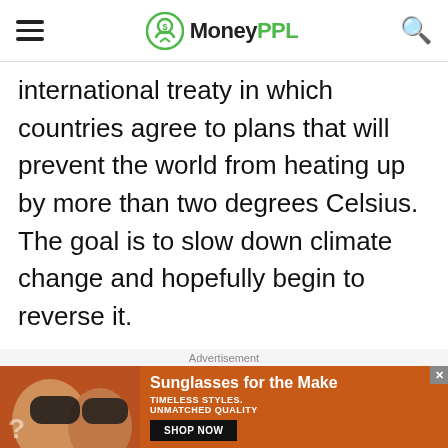MoneyPPL
international treaty in which countries agree to plans that will prevent the world from heating up by more than two degrees Celsius. The goal is to slow down climate change and hopefully begin to reverse it.
When President Trump withdrew the United States from the Paris Climate Agreement, Musk left the two advisory
Advertisement